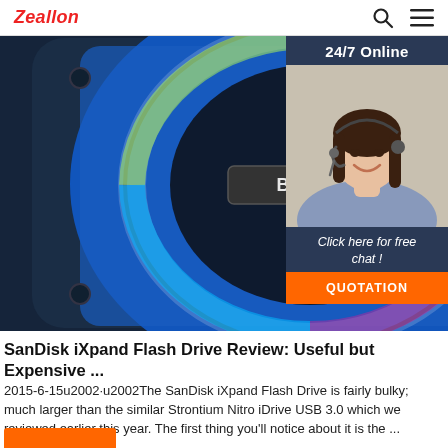Zeallon
[Figure (photo): A blue Bluetooth speaker labeled BT-308 with colorful LED ring lighting, overlaid in the top right with a '24/7 Online' customer service panel showing a smiling female agent wearing a headset, a 'Click here for free chat!' message, and an orange QUOTATION button.]
SanDisk iXpand Flash Drive Review: Useful but Expensive ...
2015-6-15u2002·u2002The SanDisk iXpand Flash Drive is fairly bulky; much larger than the similar Strontium Nitro iDrive USB 3.0 which we reviewed earlier this year. The first thing you'll notice about it is the ...